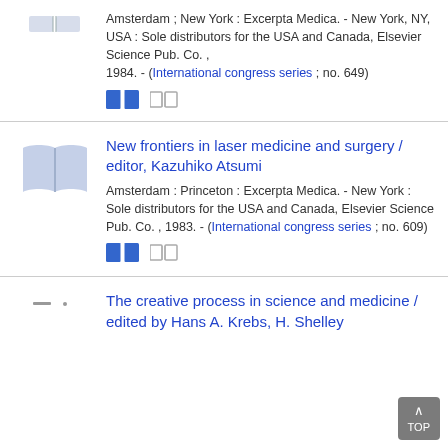Amsterdam ; New York : Excerpta Medica. - New York, NY, USA : Sole distributors for the USA and Canada, Elsevier Science Pub. Co. , 1984. - (International congress series ; no. 649)
[Figure (illustration): Blue book icon (open book) small]
New frontiers in laser medicine and surgery / editor, Kazuhiko Atsumi
Amsterdam : Princeton : Excerpta Medica. - New York : Sole distributors for the USA and Canada, Elsevier Science Pub. Co. , 1983. - (International congress series ; no. 609)
[Figure (illustration): Blue book icon (open book) medium]
[Figure (illustration): Blue book icon (open book) small]
The creative process in science and medicine / edited by Hans A. Krebs, H. Shelley